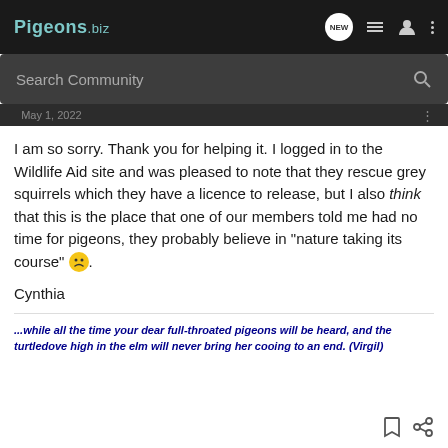Pigeons.biz
I am so sorry. Thank you for helping it. I logged in to the Wildlife Aid site and was pleased to note that they rescue grey squirrels which they have a licence to release, but I also think that this is the place that one of our members told me had no time for pigeons, they probably believe in "nature taking its course" 🙁.
Cynthia
...while all the time your dear full-throated pigeons will be heard, and the turtledove high in the elm will never bring her cooing to an end. (Virgil)